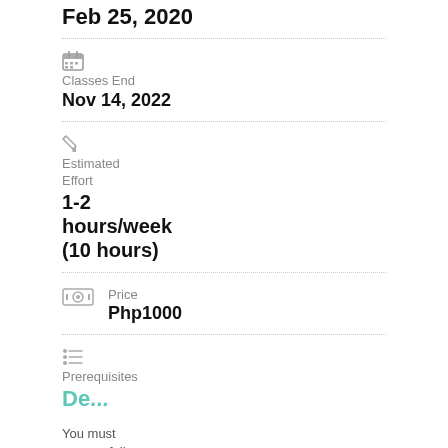Feb 25, 2020
Classes End
Nov 14, 2022
Estimated Effort
1-2 hours/week (10 hours)
Price
Php1000
Prerequisites
De...
You must successfully complete